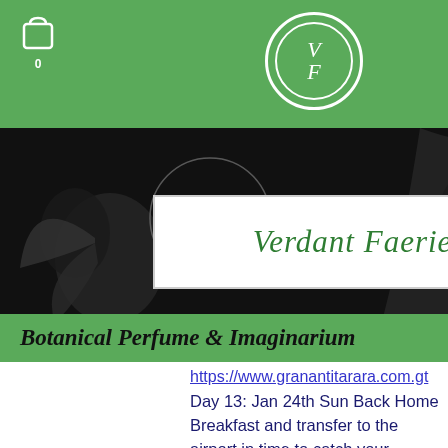Verdant Faerie – Botanical Perfume & Imaginarium
https://www.granantitarara.com.gt
Day 13: Jan 24th Sun Back Home Breakfast and transfer to the airport in time to catch your international flight back home (B)
Prices in US$ per pax $1600 Single Supplement $300 $400.00 deposit will hold your reservation.
First information needed: Your name as it appears on your passport, date of birth, your home address, your e-mail, your home phone number and